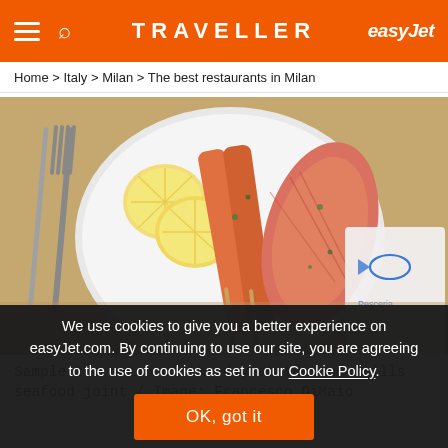TRAVELLER | easyJet
Home > Italy > Milan > The best restaurants in Milan
[Figure (photo): A white plate with grilled salmon skewers, salmon fillet, and lemon slices on a beige table surface with a fork, knife, and a napkin bearing a blue fish logo and text 'Pesceria'.]
Sample the catch of the day at this no-frills seafood joint / Image: Francesco DiMaio
We use cookies to give you a better experience on easyJet.com. By continuing to use our site, you are agreeing to the use of cookies as set in our Cookie Policy.
OK, got it